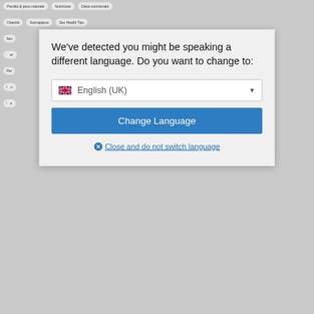[Figure (screenshot): Background of an Italian health/nutrition website showing tag buttons: 'Perdita di peso naturale', 'Nutrizione', 'Dieta nutrizionale', 'Obesità', 'Sovrappeso', 'Sex Health Tips', and partial tags for 'Sex', 'Cibo', 'Per...', 'Pillo', 'Ben...' etc.]
We've detected you might be speaking a different language. Do you want to change to:
English (UK)
Change Language
Close and do not switch language